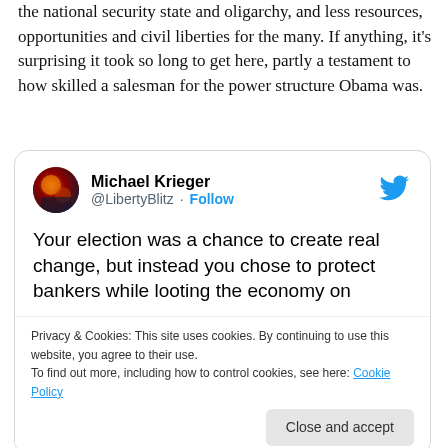the national security state and oligarchy, and less resources, opportunities and civil liberties for the many. If anything, it's surprising it took so long to get here, partly a testament to how skilled a salesman for the power structure Obama was.
[Figure (screenshot): Embedded tweet from Michael Krieger (@LibertyBlitz) with Follow button and Twitter bird icon. Tweet text begins: 'Your election was a chance to create real change, but instead you chose to protect bankers while looting the economy on behalf of...' (truncated). A cookie consent banner overlays the bottom of the tweet card.]